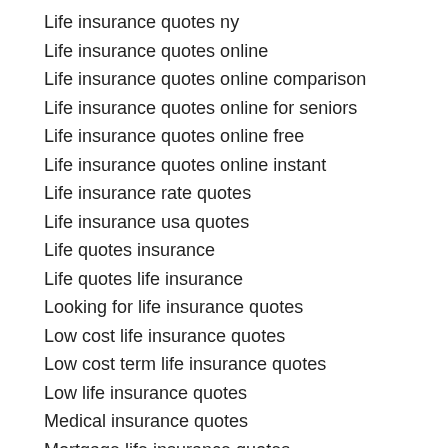Life insurance quotes ny
Life insurance quotes online
Life insurance quotes online comparison
Life insurance quotes online for seniors
Life insurance quotes online free
Life insurance quotes online instant
Life insurance rate quotes
Life insurance usa quotes
Life quotes insurance
Life quotes life insurance
Looking for life insurance quotes
Low cost life insurance quotes
Low cost term life insurance quotes
Low life insurance quotes
Medical insurance quotes
Mortgage life insurance quotes
Motor insurance quotes
One line quotes on life
Online life quotes...